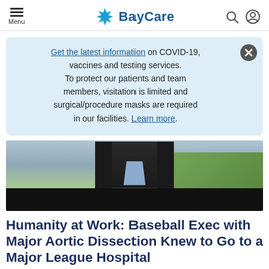BayCare
Get the latest information on COVID-19, vaccines and testing services. To protect our patients and team members, visitation is limited and surgical/procedure masks are required in our facilities. Learn more.
[Figure (photo): Photo of a man in a dark suit and light blue shirt, standing outdoors near a baseball field (green grass visible in background). Lower portion of image has a black bar overlay.]
Humanity at Work: Baseball Exec with Major Aortic Dissection Knew to Go to a Major League Hospital
Howard Grosswirth arrived at BayCare's St.